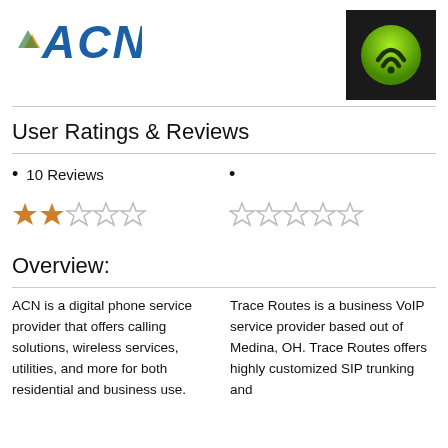[Figure (logo): ACN company logo — bold italic blue text 'ACN' with a small mountain/sun icon]
[Figure (logo): WiFi/signal icon — green circular icon with signal waves on a dark/black background]
User Ratings & Reviews
10 Reviews
[Figure (other): Star rating — 2 out of 5 filled orange stars]
[Figure (other): Star rating — 0 out of 5 filled stars (all grey)]
Overview:
ACN is a digital phone service provider that offers calling solutions, wireless services, utilities, and more for both residential and business use.
Trace Routes is a business VoIP service provider based out of Medina, OH. Trace Routes offers highly customized SIP trunking and